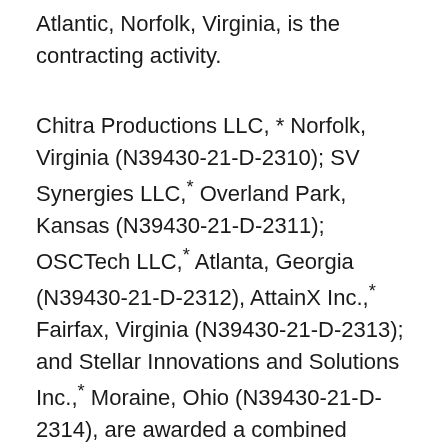Atlantic, Norfolk, Virginia, is the contracting activity.
Chitra Productions LLC, * Norfolk, Virginia (N39430-21-D-2310); SV Synergies LLC,* Overland Park, Kansas (N39430-21-D-2311); OSCTech LLC,* Atlanta, Georgia (N39430-21-D-2312), AttainX Inc.,* Fairfax, Virginia (N39430-21-D-2313); and Stellar Innovations and Solutions Inc.,* Moraine, Ohio (N39430-21-D-2314), are awarded a combined $151,000,000 indefinite-delivery/indefinite-quantity contract to provide full information technology (IT) lifecycle support to Naval Facilities Engineering Systems Command's (NAVFAC) core facilities